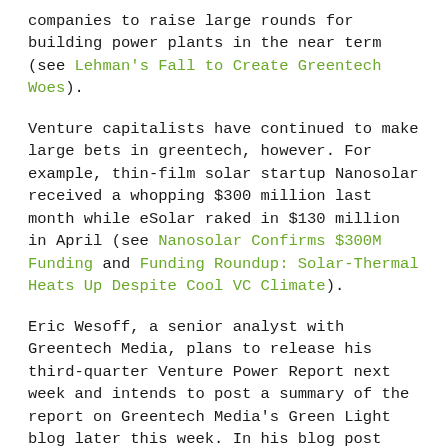companies to raise large rounds for building power plants in the near term (see Lehman's Fall to Create Greentech Woes).
Venture capitalists have continued to make large bets in greentech, however. For example, thin-film solar startup Nanosolar received a whopping $300 million last month while eSolar raked in $130 million in April (see Nanosolar Confirms $300M Funding and Funding Roundup: Solar-Thermal Heats Up Despite Cool VC Climate).
Eric Wesoff, a senior analyst with Greentech Media, plans to release his third-quarter Venture Power Report next week and intends to post a summary of the report on Greentech Media's Green Light blog later this week. In his blog post today, he listed the top 10 greentech venture deals of 2008 so far (see